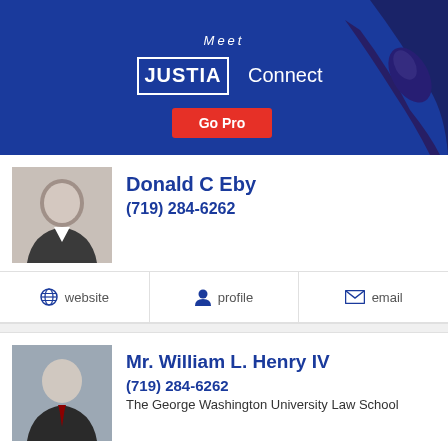[Figure (illustration): Justia Connect promotional banner with dark blue background, 'Meet JUSTIA Connect' text, 'Go Pro' red button, and a hand pointing from the right]
Donald C Eby
(719) 284-6262
website  profile  email
Mr. William L. Henry IV
(719) 284-6262
The George Washington University Law School
website  profile  email